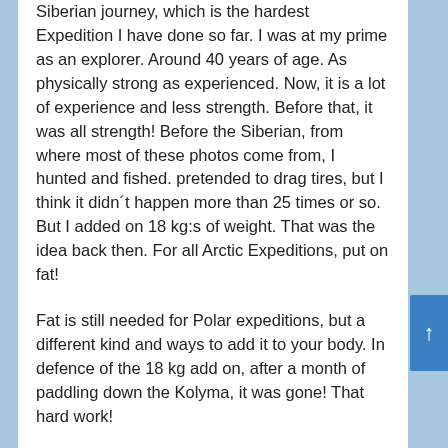Siberian journey, which is the hardest Expedition I have done so far. I was at my prime as an explorer. Around 40 years of age. As physically strong as experienced. Now, it is a lot of experience and less strength. Before that, it was all strength! Before the Siberian, from where most of these photos come from, I hunted and fished. pretended to drag tires, but I think it didn´t happen more than 25 times or so. But I added on 18 kg:s of weight. That was the idea back then. For all Arctic Expeditions, put on fat!
Fat is still needed for Polar expeditions, but a different kind and ways to add it to your body. In defence of the 18 kg add on, after a month of paddling down the Kolyma, it was gone! That hard work!
Three things have changed in the way of preparing for Expeditions compared to 35 years ago. Which I realized the other day when I again ran the 23-25 km Häckeberga Circle.
See this clip to get the insight!